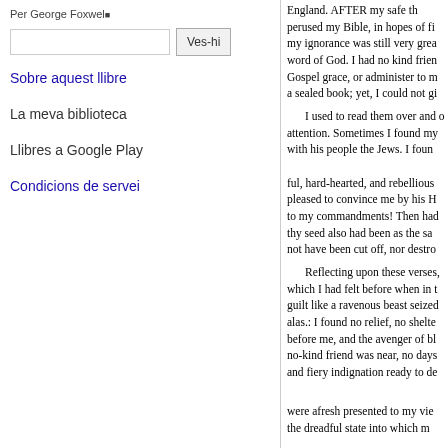Per George Foxwell
Sobre aquest llibre
La meva biblioteca
Llibres a Google Play
Condicions de servei
England. AFTER my safe th... perused my Bible, in hopes of fi... my ignorance was still very grea... word of God. I had no kind frien... Gospel grace, or administer to m... a sealed book; yet, I could not gi...

I used to read them over and o... attention. Sometimes I found my... with his people the Jews. I foun... ful, hard-hearted, and rebellious... pleased to convince me by his H... to my commandments! Then had... thy seed also had been as the sa... not have been cut off, nor destro...

Reflecting upon these verses,... which I had felt before when in t... guilt like a ravenous beast seized... alas.: I found no relief, no shelte... before me, and the avenger of bl... no-kind friend was near, no days... and fiery indignation ready to de...

were afresh presented to my vie... the dreadful state into which m...